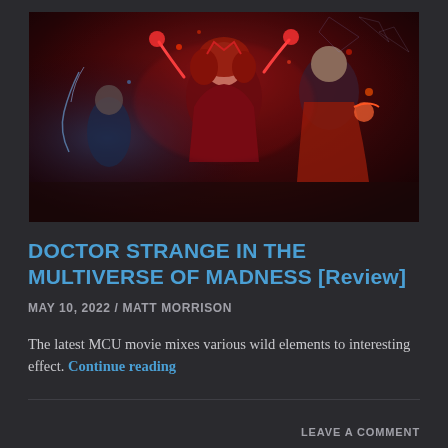[Figure (photo): Movie poster for Doctor Strange in the Multiverse of Madness showing Scarlet Witch in red costume with glowing red energy, Doctor Strange in blue/red costume, and another character in background with dark red and blue dramatic lighting]
DOCTOR STRANGE IN THE MULTIVERSE OF MADNESS [Review]
MAY 10, 2022 / MATT MORRISON
The latest MCU movie mixes various wild elements to interesting effect. Continue reading
LEAVE A COMMENT